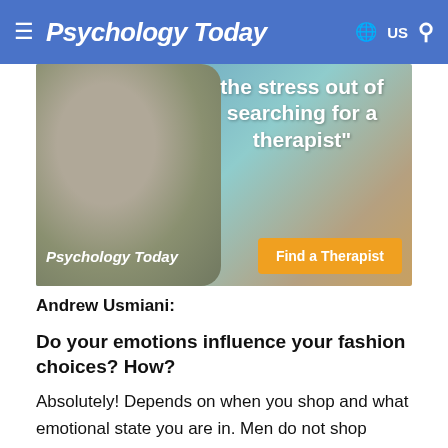Psychology Today — US
[Figure (screenshot): Psychology Today advertisement banner showing a smiling man outdoors with text 'the stress out of searching for a therapist"' and a 'Find a Therapist' orange button, with Psychology Today logo]
Andrew Usmiani:
Do your emotions influence your fashion choices? How?
Absolutely! Depends on when you shop and what emotional state you are in. Men do not shop impulsively. They shop when they need